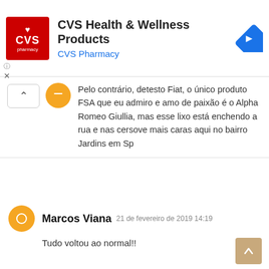[Figure (screenshot): CVS pharmacy ad banner with red logo, title 'CVS Health & Wellness Products', subtitle 'CVS Pharmacy', and blue navigation diamond icon]
Pelo contrário, detesto Fiat, o único produto FSA que eu admiro e amo de paixão é o Alpha Romeo Giullia, mas esse lixo está enchendo a rua e nas cersove mais caras aqui no bairro Jardins em Sp
Marcos Viana  21 de fevereiro de 2019 14:19
Tudo voltou ao normal!!

1º FCA – 24951
2º GM – 22079
3º VOLKS – 16660